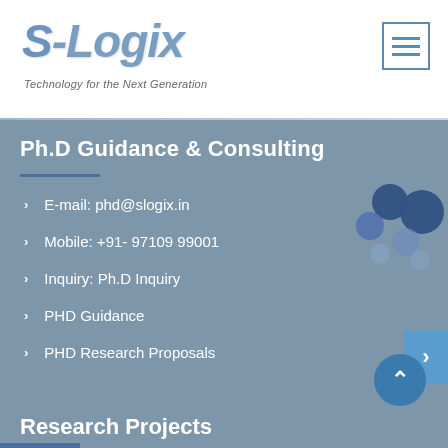S-Logix — Technology for the Next Generation
Ph.D Guidance & Consulting
E-mail: phd@slogix.in
Mobile: +91- 97109 99001
Inquiry: Ph.D Inquiry
PHD Guidance
PHD Research Proposals
Research Projects